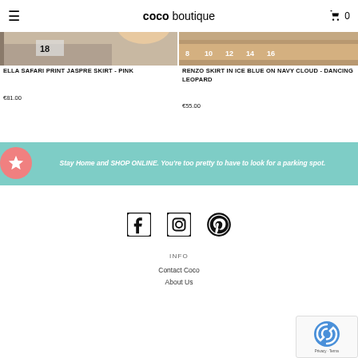coco boutique
[Figure (photo): Cropped product image for Ella Safari Print Jaspre Skirt - Pink, showing size tag 18]
ELLA SAFARI PRINT JASPRE SKIRT - PINK
€81.00
[Figure (photo): Cropped product image for Renzo Skirt in Ice Blue on Navy Cloud - Dancing Leopard, showing size range 8 10 12 14 16]
RENZO SKIRT IN ICE BLUE ON NAVY CLOUD - DANCING LEOPARD
€55.00
Stay Home and SHOP ONLINE. You're too pretty to have to look for a parking spot.
[Figure (illustration): Social media icons: Facebook, Instagram, Pinterest]
INFO
Contact Coco
About Us